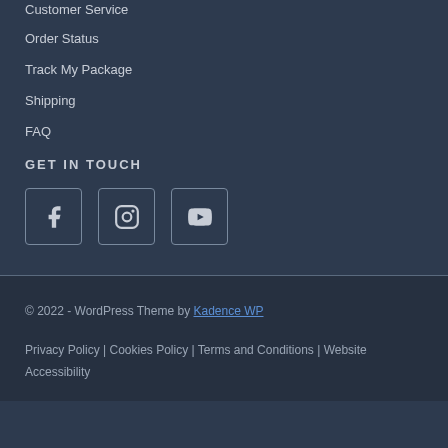Customer Service
Order Status
Track My Package
Shipping
FAQ
GET IN TOUCH
[Figure (illustration): Three social media icon buttons: Facebook, Instagram, YouTube]
© 2022 - WordPress Theme by Kadence WP
Privacy Policy | Cookies Policy | Terms and Conditions | Website Accessibility